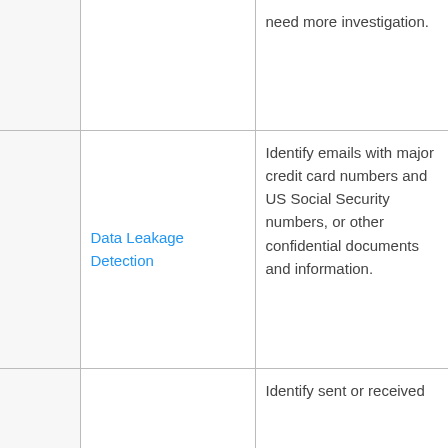|  | Description |
| --- | --- |
|  | need more investigation. |
| Data Leakage Detection | Identify emails with major credit card numbers and US Social Security numbers, or other confidential documents and information. |
|  | Identify sent or received |